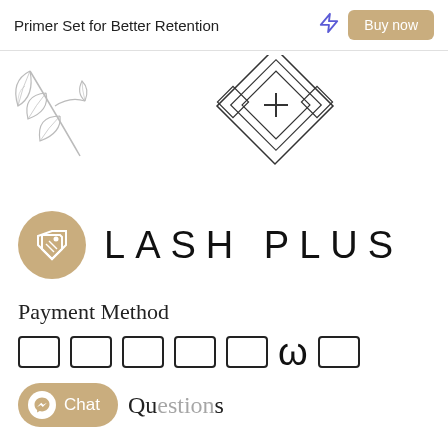Primer Set for Better Retention
[Figure (logo): Lash Plus brand logo with diamond geometric shape containing a plus sign, decorative leaf illustration in top-left corner, and a price tag icon in a gold circle. Brand name reads LASH PLUS in spaced uppercase letters.]
Payment Method
[Figure (infographic): Payment method icons row: six rectangular card icon placeholders, an omega/Klarna symbol, and another rectangular icon placeholder.]
Qu...s
[Figure (illustration): Chat button with Messenger icon labeled Chat]